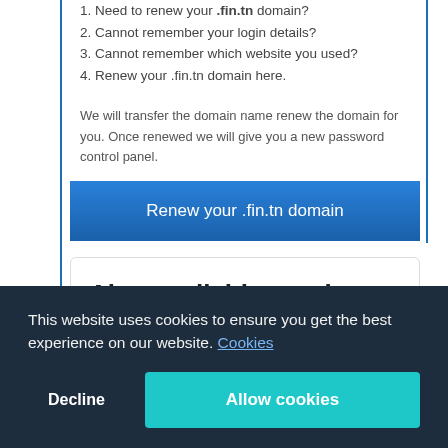1. Need to renew your .fin.tn domain?
2. Cannot remember your login details?
3. Cannot remember which website you used?
4. Renew your .fin.tn domain here.
We will transfer the domain name renew the domain for you. Once renewed we will give you a new password control panel.
Renew your .fin.tn domain
Also available are the following Tunisian Domains:
This website uses cookies to ensure you get the best experience on our website. Cookies
Decline   Allow cookies